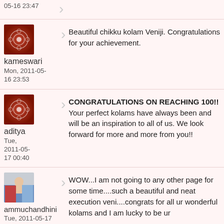05-16 23:47
[Figure (illustration): Decorative kolam avatar with circular patterns on dark red background]
kameswari
Mon, 2011-05-16 23:53
Beautiful chikku kolam Veniji. Congratulations for your achievement.
[Figure (illustration): Decorative kolam avatar with circular patterns on dark red background]
aditya
Tue, 2011-05-17 00:40
CONGRATULATIONS ON REACHING 100!! Your perfect kolams have always been and will be an inspiration to all of us. We look forward for more and more from you!!
[Figure (photo): Photo of two people, a woman and a man]
ammuchandhini
Tue, 2011-05-17 00:52
WOW...I am not going to any other page for some time....such a beautiful and neat execution veni....congrats for all ur wonderful kolams and I am lucky to be ur